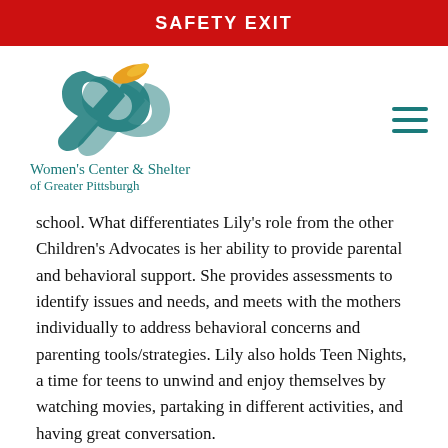SAFETY EXIT
[Figure (logo): Women's Center & Shelter of Greater Pittsburgh logo with teal ampersand/hands design and gold accent]
school. What differentiates Lily's role from the other Children's Advocates is her ability to provide parental and behavioral support. She provides assessments to identify issues and needs, and meets with the mothers individually to address behavioral concerns and parenting tools/strategies. Lily also holds Teen Nights, a time for teens to unwind and enjoy themselves by watching movies, partaking in different activities, and having great conversation.
What They Enjoy